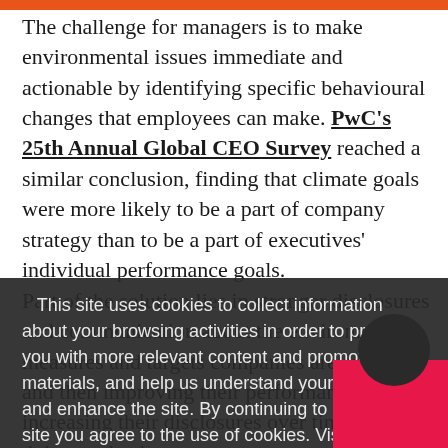The challenge for managers is to make environmental issues immediate and actionable by identifying specific behavioural changes that employees can make. PwC's 25th Annual Global CEO Survey reached a similar conclusion, finding that climate goals were more likely to be a part of company strategy than to be a part of executives' individual performance goals.
This site uses cookies to collect information about your browsing activities in order to provide you with more relevant content and promotional materials, and help us understand your interests and enhance the site. By continuing to browse this site you agree to the use of cookies. Visit our cookie policy to learn more.
Part of the solution lies in stronger disclosures and communication about the environmental measures and targets companies are setting, and then improving their performance and increasing their disclosures over time. In doing so, leaders can use transparency to build trust with their workforce.